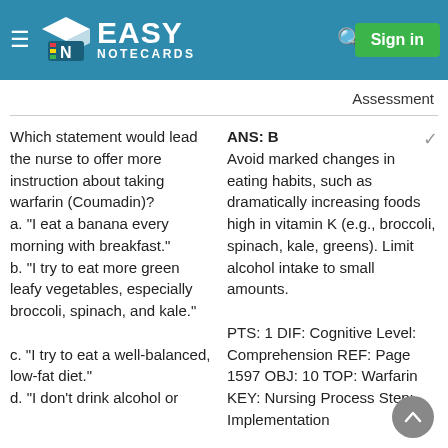Easy Notecards — Sign in
Assessment
Which statement would lead the nurse to offer more instruction about taking warfarin (Coumadin)?
a. "I eat a banana every morning with breakfast."
b. "I try to eat more green leafy vegetables, especially broccoli, spinach, and kale."

c. "I try to eat a well-balanced, low-fat diet."
d. "I don't drink alcohol or
ANS: B
Avoid marked changes in eating habits, such as dramatically increasing foods high in vitamin K (e.g., broccoli, spinach, kale, greens). Limit alcohol intake to small amounts.

PTS: 1 DIF: Cognitive Level: Comprehension REF: Page 1597 OBJ: 10 TOP: Warfarin KEY: Nursing Process Step: Implementation